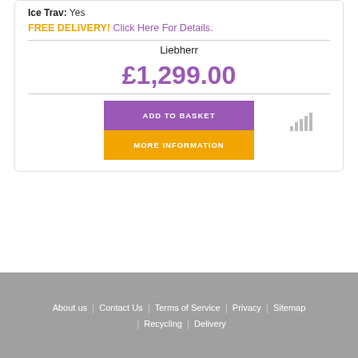Ice Trav: Yes
FREE DELIVERY! Click Here For Details.
Liebherr
£1,299.00
ADD TO BASKET
MORE INFORMATION
About us | Contact Us | Terms of Service | Privacy | Sitemap | Recycling | Delivery